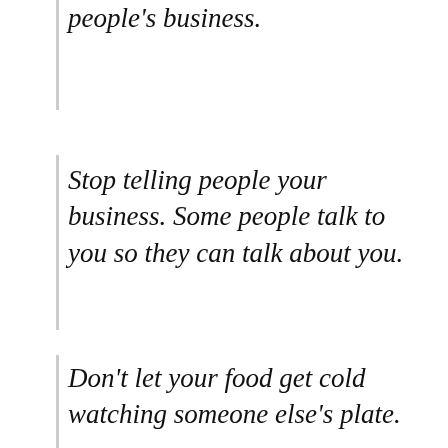people's business.
Stop telling people your business. Some people talk to you so they can talk about you.
Don't let your food get cold watching someone else's plate.
Every love is different. Every relationship is different. So...